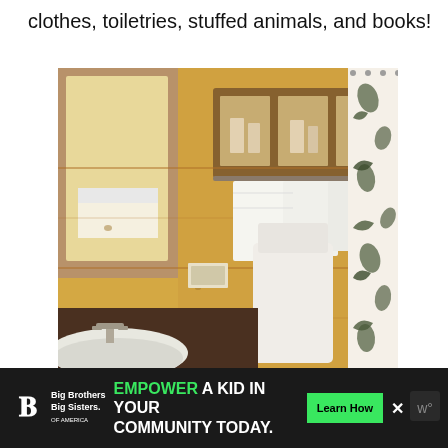clothes, toiletries, stuffed animals, and books!
[Figure (photo): Interior photo of a rustic wooden cabin bathroom with pine-paneled walls, a wall-mounted storage cabinet with glass doors containing toiletries, white towels hanging on a rack, a floral-patterned shower curtain (white with dark leaf/botanical prints), a white sink with chrome faucet, a dark countertop, and a toilet partially visible.]
[Figure (other): Advertisement banner with dark background. Left: Big Brothers Big Sisters of America logo. Center: text reading 'EMPOWER A KID IN YOUR COMMUNITY TODAY.' with 'EMPOWER' in green. Right: green 'Learn How' button, close X button, and a dark icon.]